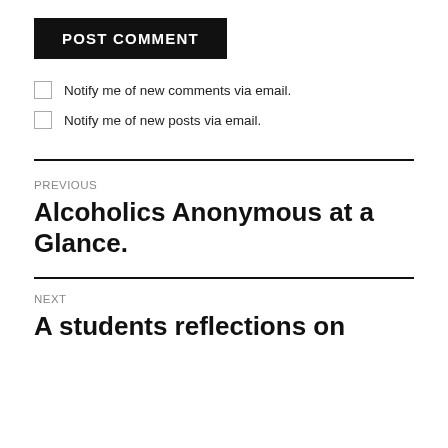POST COMMENT
Notify me of new comments via email.
Notify me of new posts via email.
PREVIOUS
Alcoholics Anonymous at a Glance.
NEXT
A students reflections on